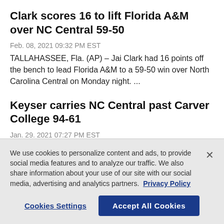Clark scores 16 to lift Florida A&M over NC Central 59-50
Feb. 08, 2021 09:32 PM EST
TALLAHASSEE, Fla. (AP) – Jai Clark had 16 points off the bench to lead Florida A&amp;M to a 59-50 win over North Carolina Central on Monday night. ...
Keyser carries NC Central past Carver College 94-61
Jan. 29. 2021 07:27 PM EST
We use cookies to personalize content and ads, to provide social media features and to analyze our traffic. We also share information about your use of our site with our social media, advertising and analytics partners. Privacy Policy